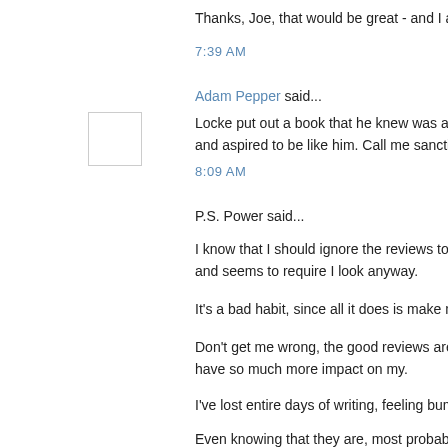Thanks, Joe, that would be great - and I agree about the placement in n
7:39 AM
Adam Pepper said...
Locke put out a book that he knew was a crock just to make a few bu and aspired to be like him. Call me sanctimonious but in my book tha
8:09 AM
P.S. Power said...
I know that I should ignore the reviews totally, but being kind of new and seems to require I look anyway.
It's a bad habit, since all it does is make me want to not write.
Don't get me wrong, the good reviews are good and more plentiful (w have so much more impact on my.
I've lost entire days of writing, feeling bummed out over obviously fa
Even knowing that they are, most probably sock-puppets. It leaves me